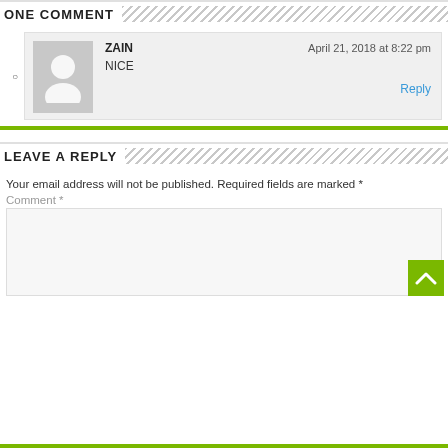ONE COMMENT
ZAIN
April 21, 2018 at 8:22 pm
NICE
Reply
LEAVE A REPLY
Your email address will not be published. Required fields are marked *
Comment *